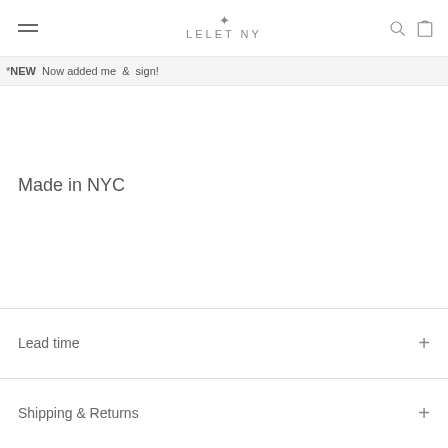LELET NY
*NEW  Now added me  &  sign!
Made in NYC
Lead time
Shipping & Returns